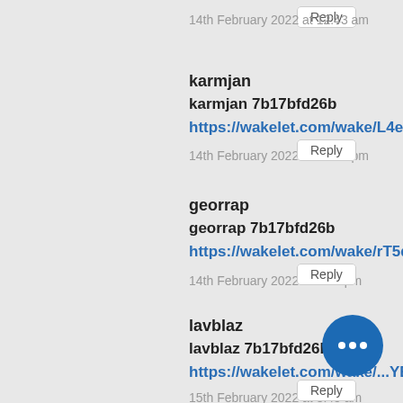14th February 2022 at 12:43 am
Reply
karmjan
karmjan 7b17bfd26b
https://wakelet.com/wake/L4eeloEnDs
14th February 2022 at 12:16 pm
Reply
georrap
georrap 7b17bfd26b
https://wakelet.com/wake/rT5dMd2Dl
14th February 2022 at 4:21 pm
Reply
lavblaz
lavblaz 7b17bfd26b
https://wakelet.com/wake/...YBS
15th February 2022 at 8:45 am
Reply